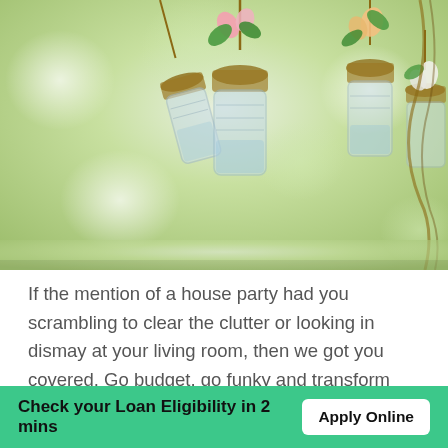[Figure (photo): Decorative hanging mason jars with flowers and greenery in an outdoor garden party setting, with blurred bokeh background.]
If the mention of a house party had you scrambling to clear the clutter or looking in dismay at your living room, then we got you covered. Go budget, go funky and transform your living room.
Check your Loan Eligibility in 2 mins  Apply Online